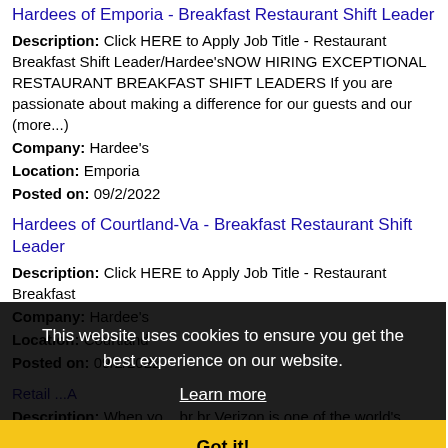Hardees of Emporia - Breakfast Restaurant Shift Leader
Description: Click HERE to Apply Job Title - Restaurant Breakfast Shift Leader/Hardee'sNOW HIRING EXCEPTIONAL RESTAURANT BREAKFAST SHIFT LEADERS If you are passionate about making a difference for our guests and our (more...)
Company: Hardee's
Location: Emporia
Posted on: 09/2/2022
Hardees of Courtland-Va - Breakfast Restaurant Shift Leader
Description: Click HERE to Apply Job Title - Restaurant Breakfast
Company: Hardee's
Location: Courtland
Posted on: 09/2/2022
Retail ...A
Description: When yo... br br Verizon is one of the world's leading providers of technology and communications services, transforming the way we connect across the globe. We're a diverse network of (mo...
Company: Verizon
Location: Suffolk
Posted on: 09/2/2022
This website uses cookies to ensure you get the best experience on our website.
Learn more
Got it!